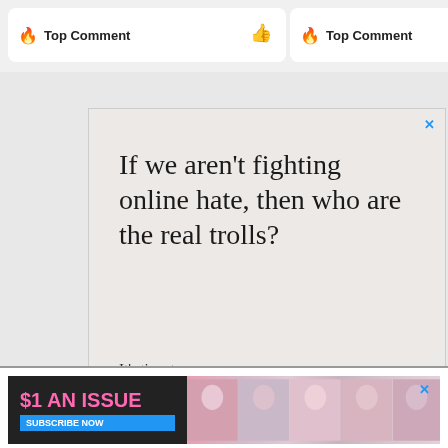Top Comment
[Figure (screenshot): Top Comment card with flame icon and thumbs up icon]
[Figure (screenshot): Second Top Comment card with flame icon]
[Figure (infographic): OpenWeb advertisement: 'If we aren't fighting online hate, then who are the real trollls? It's time to save online conversation. Learn more.' with OpenWeb logo and close button]
AdChoices Sponsored
[Figure (infographic): Bottom banner ad: '$1 AN ISSUE SUBSCRIBE NOW' with magazine covers shown in pink/colorful imagery]